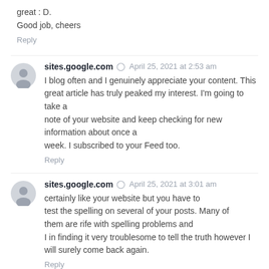great : D.
Good job, cheers
Reply
sites.google.com  April 25, 2021 at 2:53 am
I blog often and I genuinely appreciate your content. This great article has truly peaked my interest. I'm going to take a note of your website and keep checking for new information about once a week. I subscribed to your Feed too.
Reply
sites.google.com  April 25, 2021 at 3:01 am
certainly like your website but you have to test the spelling on several of your posts. Many of them are rife with spelling problems and I in finding it very troublesome to tell the truth however I will surely come back again.
Reply